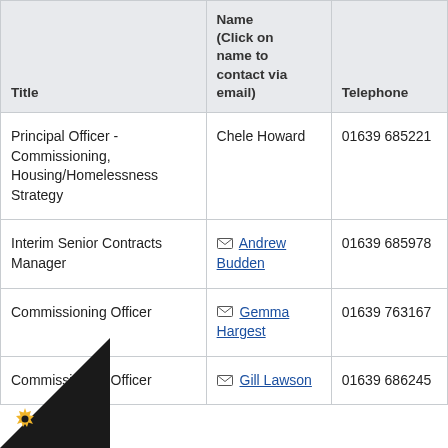| Title | Name (Click on name to contact via email) | Telephone |
| --- | --- | --- |
| Principal Officer - Commissioning, Housing/Homelessness Strategy | Chele Howard | 01639 685221 |
| Interim Senior Contracts Manager | Andrew Budden | 01639 685978 |
| Commissioning Officer | Gemma Hargest | 01639 763167 |
| Commissioning Officer | Gill Lawson | 01639 686245 |